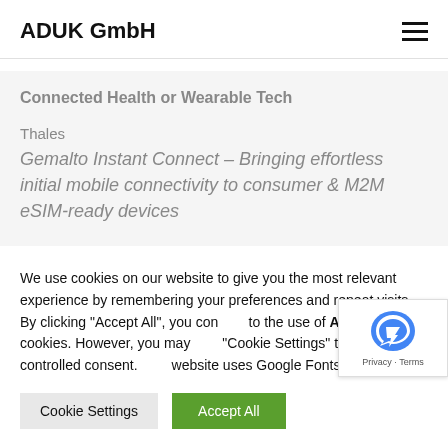ADUK GmbH
Connected Health or Wearable Tech
Thales
Gemalto Instant Connect – Bringing effortless initial mobile connectivity to consumer & M2M eSIM-ready devices
We use cookies on our website to give you the most relevant experience by remembering your preferences and repeat visits. By clicking "Accept All", you consent to the use of ALL the cookies. However, you may visit "Cookie Settings" to provide a controlled consent. This website uses Google Fonts.
Cookie Settings | Accept All